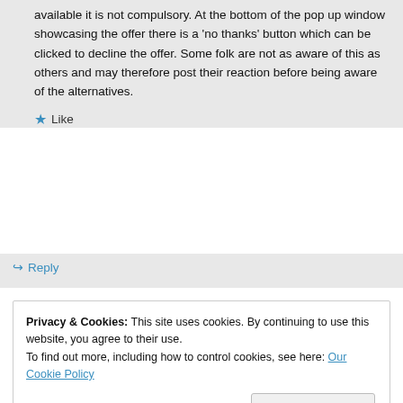available it is not compulsory. At the bottom of the pop up window showcasing the offer there is a 'no thanks' button which can be clicked to decline the offer. Some folk are not as aware of this as others and may therefore post their reaction before being aware of the alternatives.
Like
Reply
Privacy & Cookies: This site uses cookies. By continuing to use this website, you agree to their use. To find out more, including how to control cookies, see here: Our Cookie Policy
Close and accept